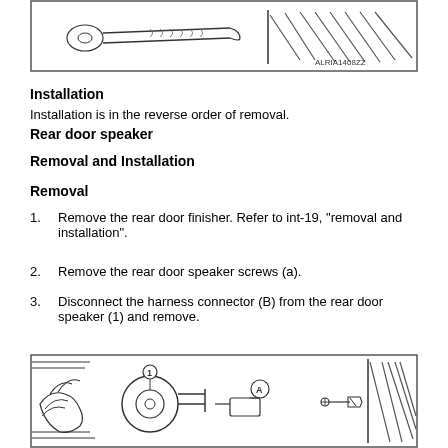[Figure (engineering-diagram): Technical illustration of a tool or connector, with diagonal hatching lines on the right side, labeled ALRIA1408ZZ in bottom right corner.]
Installation
Installation is in the reverse order of removal.
Rear door speaker
Removal and Installation
Removal
Remove the rear door finisher. Refer to int-19, "removal and installation".
Remove the rear door speaker screws (a).
Disconnect the harness connector (B) from the rear door speaker (1) and remove.
[Figure (engineering-diagram): Technical illustration of rear door speaker showing speaker labeled (1), harness connector labeled (A), and screws, with hatching lines on door panel edges.]